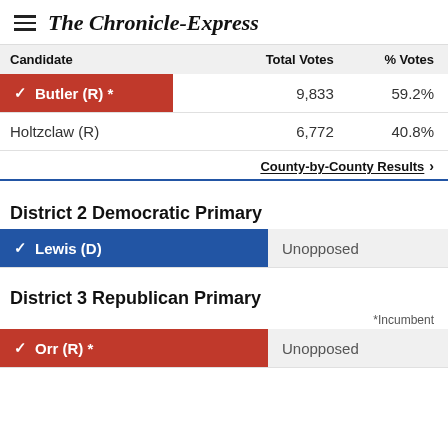The Chronicle-Express
| Candidate | Total Votes | % Votes |
| --- | --- | --- |
| Butler (R) * | 9,833 | 59.2% |
| Holtzclaw (R) | 6,772 | 40.8% |
County-by-County Results ›
District 2 Democratic Primary
| Candidate |  |
| --- | --- |
| Lewis (D) | Unopposed |
District 3 Republican Primary
*Incumbent
| Candidate |  |
| --- | --- |
| Orr (R) * | Unopposed |